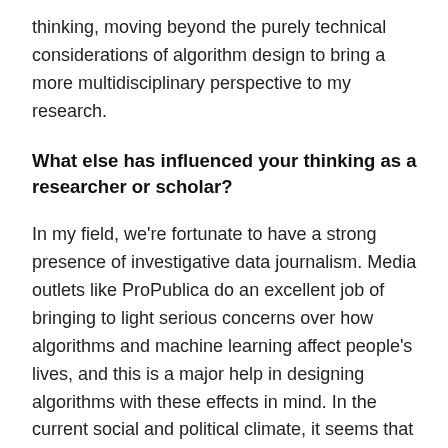thinking, moving beyond the purely technical considerations of algorithm design to bring a more multidisciplinary perspective to my research.
What else has influenced your thinking as a researcher or scholar?
In my field, we're fortunate to have a strong presence of investigative data journalism. Media outlets like ProPublica do an excellent job of bringing to light serious concerns over how algorithms and machine learning affect people's lives, and this is a major help in designing algorithms with these effects in mind. In the current social and political climate, it seems that more and more people are beginning to question the inequities produced and exacerbated by technology, and